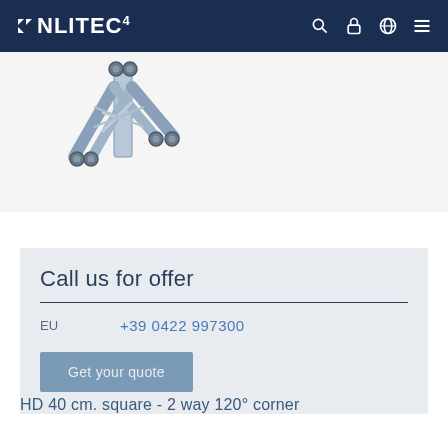LITEC
[Figure (illustration): 3D CAD rendering of an HD 40 cm square 2-way 120° corner truss connector component, showing metal frame junction with circular connector bolts]
Call us for offer
EU  +39 0422 997300
Get your quote
HD 40 cm. square - 2 way 120° corner